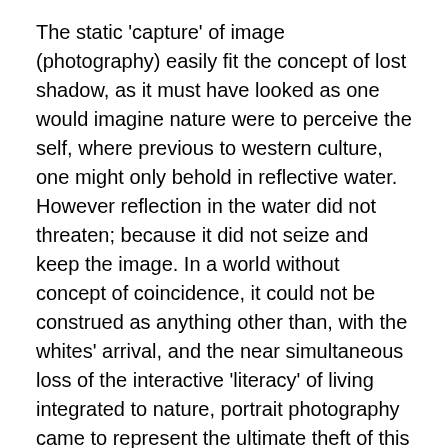The static 'capture' of image (photography) easily fit the concept of lost shadow, as it must have looked as one would imagine nature were to perceive the self, where previous to western culture, one might only behold in reflective water. However reflection in the water did not threaten; because it did not seize and keep the image. In a world without concept of coincidence, it could not be construed as anything other than, with the whites' arrival, and the near simultaneous loss of the interactive 'literacy' of living integrated to nature, portrait photography came to represent the ultimate theft of this unique awareness.
This contrast between cultures is not nearly so accommodating as that of Deloria, and recalls a satire of growing up like a football thrown from end zone to end zone between the cruelties of a hardcore Puritan stepfather in greater Los Angeles (with beatings and